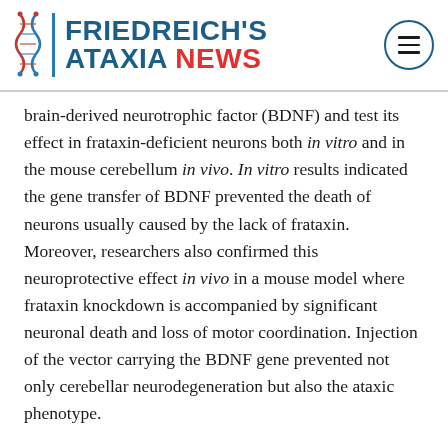FRIEDREICH'S ATAXIA NEWS
brain-derived neurotrophic factor (BDNF) and test its effect in frataxin-deficient neurons both in vitro and in the mouse cerebellum in vivo. In vitro results indicated the gene transfer of BDNF prevented the death of neurons usually caused by the lack of frataxin. Moreover, researchers also confirmed this neuroprotective effect in vivo in a mouse model where frataxin knockdown is accompanied by significant neuronal death and loss of motor coordination. Injection of the vector carrying the BDNF gene prevented not only cerebellar neurodegeneration but also the ataxic phenotype.
Researchers concluded that this study provides “evidence for the therapeutic potential of ... BDNF...